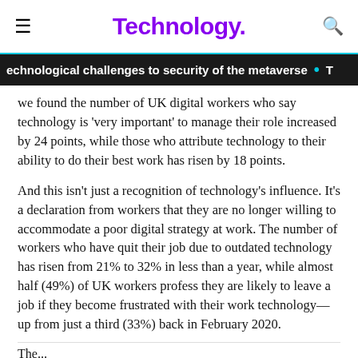Technology.
echnological challenges to security of the metaverse • T
we found the number of UK digital workers who say technology is 'very important' to manage their role increased by 24 points, while those who attribute technology to their ability to do their best work has risen by 18 points.
And this isn't just a recognition of technology's influence. It's a declaration from workers that they are no longer willing to accommodate a poor digital strategy at work. The number of workers who have quit their job due to outdated technology has risen from 21% to 32% in less than a year, while almost half (49%) of UK workers profess they are likely to leave a job if they become frustrated with their work technology—up from just a third (33%) back in February 2020.
The...